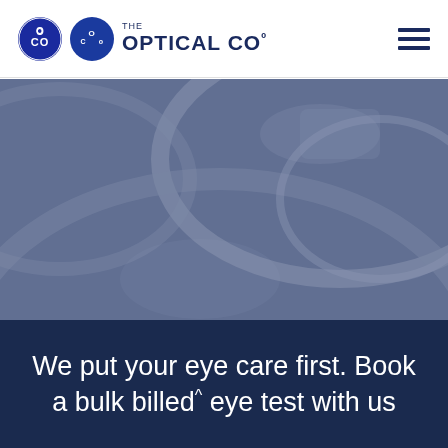THE OPTICAL Co
[Figure (photo): Close-up photo of optical lens rims and frames with a blue-grey tint overlay]
We put your eye care first. Book a bulk billed^ eye test with us